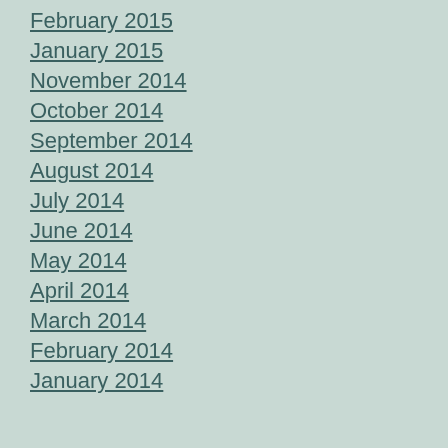February 2015
January 2015
November 2014
October 2014
September 2014
August 2014
July 2014
June 2014
May 2014
April 2014
March 2014
February 2014
January 2014